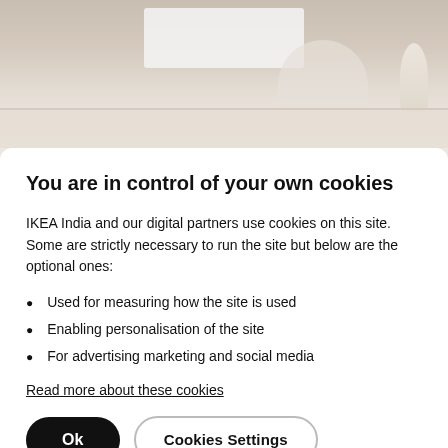[Figure (photo): IKEA workspace photo showing a white desk with monitor, chair, and lamp in a light neutral-toned room]
You are in control of your own cookies
IKEA India and our digital partners use cookies on this site. Some are strictly necessary to run the site but below are the optional ones:
Used for measuring how the site is used
Enabling personalisation of the site
For advertising marketing and social media
Read more about these cookies
Ok   Cookies Settings